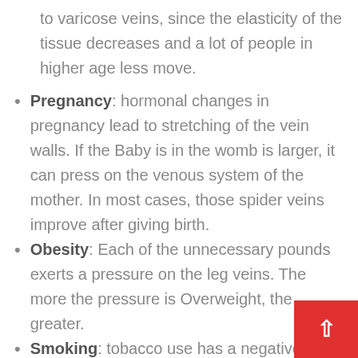(continuation) to varicose veins, since the elasticity of the tissue decreases and a lot of people in higher age less move.
Pregnancy: hormonal changes in pregnancy lead to stretching of the vein walls. If the Baby is in the womb is larger, it can press on the venous system of the mother. In most cases, those spider veins improve after giving birth.
Obesity: Each of the unnecessary pounds exerts a pressure on the leg veins. The more the pressure is Overweight, the greater.
Smoking: tobacco use has a negative impact on the arterial blood circulation in the body and increases the risk for varicose.
Clothes: tight-fitting leg garments, in particular socks, the blood flow affect. In people with weak vein walls, this can lead to the emergence of